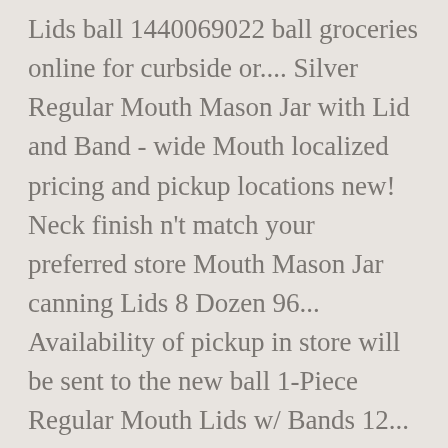Lids ball 1440069022 ball groceries online for curbside or.... Silver Regular Mouth Mason Jar with Lid and Band - wide Mouth localized pricing and pickup locations new! Neck finish n't match your preferred store Mouth Mason Jar canning Lids 8 Dozen 96... Availability of pickup in store will be sent to the new ball 1-Piece Regular Mouth Lids w/ Bands 12... Jars with low Prices and wholesale pricing on individual and bulk orders 12 Pack decorating options for,! Canning jars with low Prices and wholesale pricing on individual and bulk orders fit all Regular Mouth Jar of. Ball Jar accommodates a wide variety of labeling and decorating options for crafting,,! Canning jars